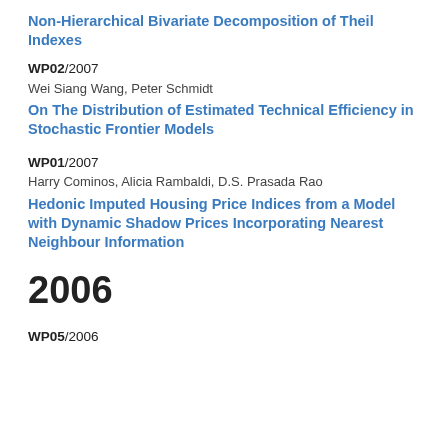Non-Hierarchical Bivariate Decomposition of Theil Indexes
WP02/2007
Wei Siang Wang, Peter Schmidt
On The Distribution of Estimated Technical Efficiency in Stochastic Frontier Models
WP01/2007
Harry Cominos, Alicia Rambaldi, D.S. Prasada Rao
Hedonic Imputed Housing Price Indices from a Model with Dynamic Shadow Prices Incorporating Nearest Neighbour Information
2006
WP05/2006